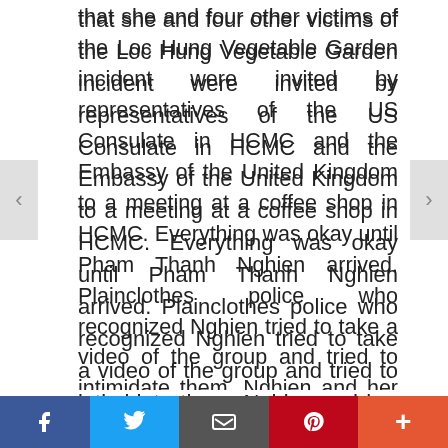that she and four other victims of the Loc Hung Vegetable Garden incident were invited by representatives of the US Consulate in HCMC and the Embassy of the United Kingdom to a meeting at a coffee shop in HCMC. Everything was okay until Pham Thanh Nghien arrived. Plainclothes police who recognized Nghien tried to take a video of the group and tried to intimidate them. Nghien and her friends all returned home safely.
The Ukrainian Embassy held a charity event to raise funds for people in need in Ukraine. Security agents prevented at least eight democracy campaigners from going to the
Facebook | Twitter | Email | Pinterest | More